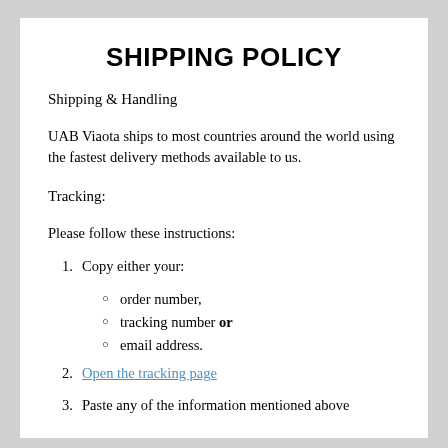SHIPPING POLICY
Shipping & Handling
UAB Viaota ships to most countries around the world using the fastest delivery methods available to us.
Tracking:
Please follow these instructions:
1. Copy either your:
order number,
tracking number or
email address.
2. Open the tracking page
3. Paste any of the information mentioned above